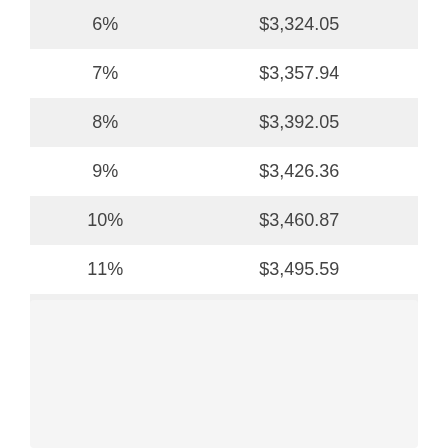| Rate | Amount |
| --- | --- |
| 6% | $3,324.05 |
| 7% | $3,357.94 |
| 8% | $3,392.05 |
| 9% | $3,426.36 |
| 10% | $3,460.87 |
| 11% | $3,495.59 |
| 12% | $3,530.51 |
[Figure (other): Empty light gray placeholder box, likely reserved for a chart or additional content]